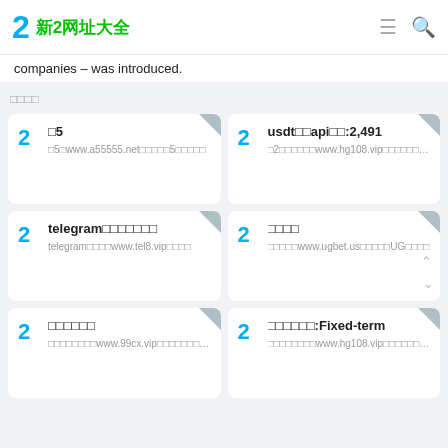新2网址大全
companies – was introduced.
□□□□
□5
□5□www.a55555.net□□□□□5□□□□□
usdt□□api□□:2,491
□2□□□□□□www.hg108.vip□□□□□□□□□□□
telegram□□□□□□□
telegram□□□□www.tel8.vip□□□□
□□□□
□□□□□www.ugbet.us□□□□□UG□□□□
□□□□□□
□□□□□□□□www.99cx.vip□□□□□□□□□□□
□□□□□□:Fixed-term
□□□□□□□□www.hg108.vip□□□□□□□□□□□